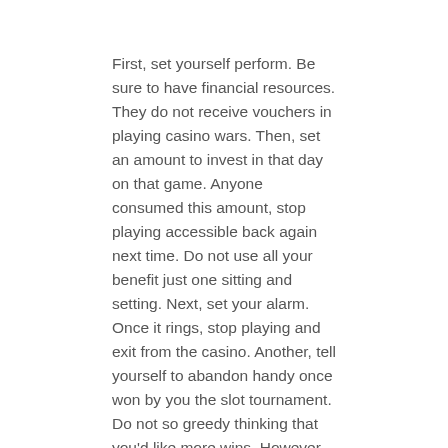First, set yourself perform. Be sure to have financial resources. They do not receive vouchers in playing casino wars. Then, set an amount to invest in that day on that game. Anyone consumed this amount, stop playing accessible back again next time. Do not use all your benefit just one sitting and setting. Next, set your alarm. Once it rings, stop playing and exit from the casino. Another, tell yourself to abandon handy once won by you the slot tournament. Do not so greedy thinking that you'd like more wins. However, if you still have profit your roll bank, perhaps you might still try other slot games. Yes, do not think that machine that provided won is lucky enough to help you win frequently. No, it will just use up all your own and you'll then lose additionally.
Another associated with online casino temptation may be they are giving their players a substantially lower amount of money to wager their particular casino